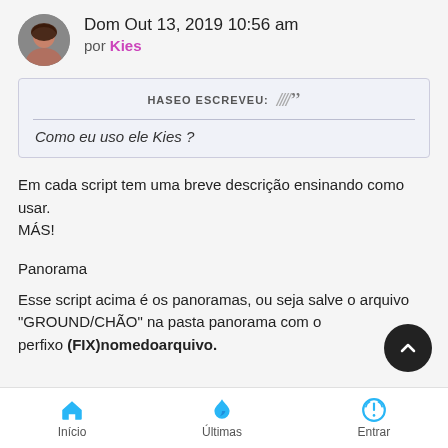Dom Out 13, 2019 10:56 am
por Kies
HASEO ESCREVEU:
Como eu uso ele Kies ?
Em cada script tem uma breve descrição ensinando como usar. MÁS!
Panorama
Esse script acima é os panoramas, ou seja salve o arquivo "GROUND/CHÃO" na pasta panorama com o perfixo (FIX)nomedoarquivo.
Início  Últimas  Entrar